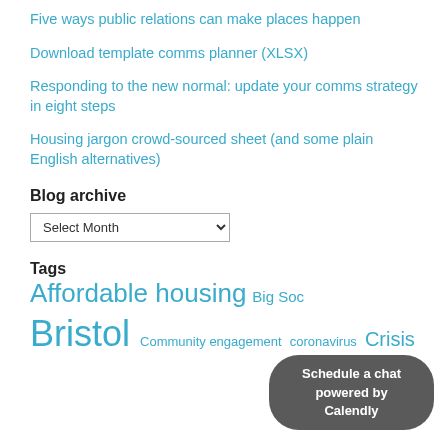Five ways public relations can make places happen
Download template comms planner (XLSX)
Responding to the new normal: update your comms strategy in eight steps
Housing jargon crowd-sourced sheet (and some plain English alternatives)
Blog archive
Select Month (dropdown)
Tags
Affordable housing  Big Soc...  Bristol  Community engagement  coronavirus  Crisis
Schedule a chat powered by Calendly